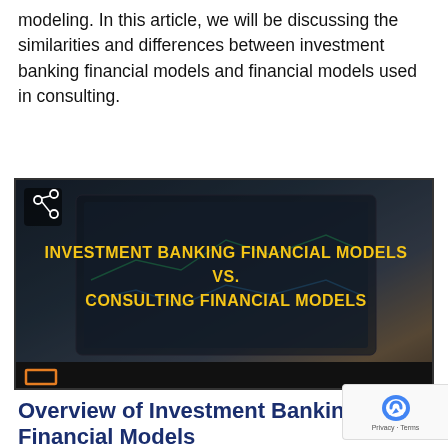modeling. In this article, we will be discussing the similarities and differences between investment banking financial models and financial models used in consulting.
[Figure (screenshot): Video thumbnail showing a laptop screen with text overlay: INVESTMENT BANKING FINANCIAL MODELS VS. CONSULTING FINANCIAL MODELS, with a share icon in the top-left corner.]
Overview of Investment Banking Financial Models
Financial models are the bread and butter of the investment banking world and are the primary reason banks get paid the big bucks. Depending on the industry and type of transaction, these financial models can look very different from the ones you'll